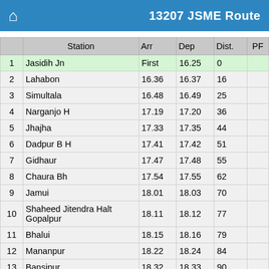13207 JSME Route
|  | Station | Arr | Dep | Dist. | PF |
| --- | --- | --- | --- | --- | --- |
| 1 | Jasidih Jn | First | 16.25 | 0 |  |
| 2 | Lahabon | 16.36 | 16.37 | 16 |  |
| 3 | Simultala | 16.48 | 16.49 | 25 |  |
| 4 | Narganjo H | 17.19 | 17.20 | 36 |  |
| 5 | Jhajha | 17.33 | 17.35 | 44 |  |
| 6 | Dadpur B H | 17.41 | 17.42 | 51 |  |
| 7 | Gidhaur | 17.47 | 17.48 | 55 |  |
| 8 | Chaura Bh | 17.54 | 17.55 | 62 |  |
| 9 | Jamui | 18.01 | 18.03 | 70 |  |
| 10 | Shaheed Jitendra Halt Gopalpur | 18.11 | 18.12 | 77 |  |
| 11 | Bhalui | 18.15 | 18.16 | 79 |  |
| 12 | Mananpur | 18.22 | 18.24 | 84 |  |
| 13 | Bansipur | 18.32 | 18.33 | 90 |  |
| 14 | Mahesh Leta H | 18.39 | 18.40 | 94 |  |
| 15 | Kiul Jn | 19.23 | 19.25 | 98 |  |
| 16 | Luckeesarai Jn | 19.29 | 19.31 | 99 |  |